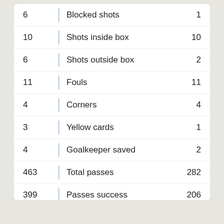| Left | Stat | Right |
| --- | --- | --- |
| 6 | Blocked shots | 1 |
| 10 | Shots inside box | 10 |
| 6 | Shots outside box | 2 |
| 11 | Fouls | 11 |
| 4 | Corners | 4 |
| 3 | Yellow cards | 1 |
| 4 | Goalkeeper saved | 2 |
| 463 | Total passes | 282 |
| 399 | Passes success | 206 |
| 86% | Passes % | 73% |